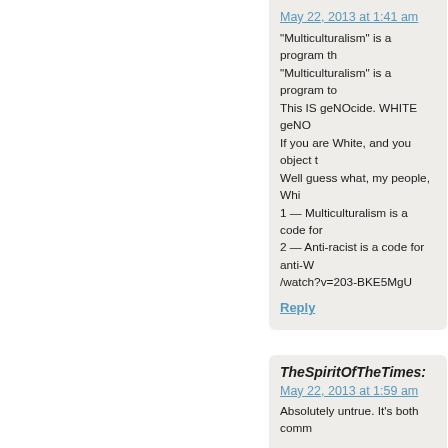May 22, 2013 at 1:41 am
"Multiculturalism" is a program th...
"Multiculturalism" is a program to...
This IS geNOcide. WHITE geNO...
If you are White, and you object t...
Well guess what, my people, Whi...
1 — Multiculturalism is a code for...
2 — Anti-racist is a code for anti-W...
/watch?v=203-BKE5MgU
Reply
TheSpiritOfTheTimes:
May 22, 2013 at 1:59 am
Absolutely untrue. It's both comm...
Reply
RonnieD1970:
May 22, 2013 at 2:43 am
Khan I have never seen you so m...
Reply
buggld:
May 22, 2013 at 3:38 am
You dot your i's so far ahead of th...
Reply
dgreek7: